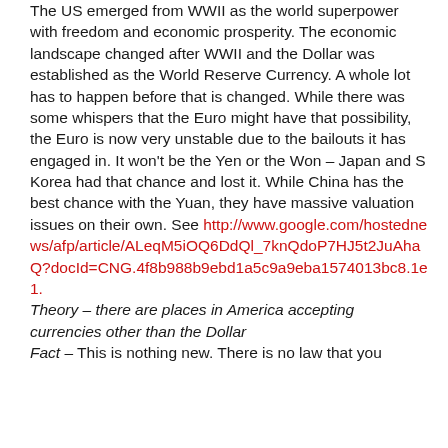The US emerged from WWII as the world superpower with freedom and economic prosperity. The economic landscape changed after WWII and the Dollar was established as the World Reserve Currency. A whole lot has to happen before that is changed. While there was some whispers that the Euro might have that possibility, the Euro is now very unstable due to the bailouts it has engaged in. It won't be the Yen or the Won – Japan and S Korea had that chance and lost it. While China has the best chance with the Yuan, they have massive valuation issues on their own. See http://www.google.com/hostednews/afp/article/ALeqM5iOQ6DdQl_7knQdoP7HJ5t2JuAhaQ?docId=CNG.4f8b988b9ebd1a5c9a9eba1574013bc8.1e1.
Theory – there are places in America accepting currencies other than the Dollar
Fact – This is nothing new. There is no law that you